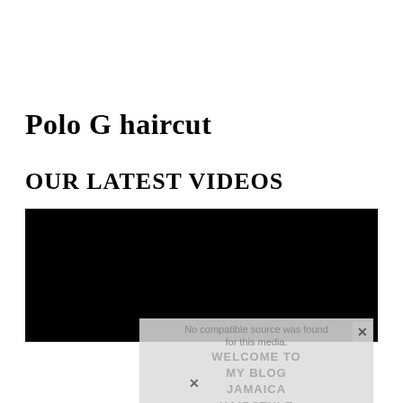Polo G haircut
OUR LATEST VIDEOS
[Figure (screenshot): Black video player area with an overlay message reading 'No compatible source was found for this media.' and a blog promotion overlay showing 'WELCOME TO MY BLOG JAMAICA HAIRSTYLE' with an X close button.]